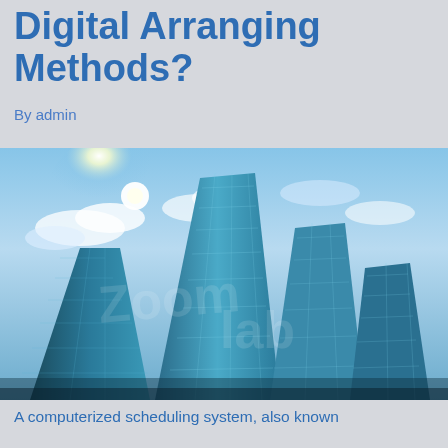Digital Arranging Methods?
By admin
[Figure (photo): Low-angle view of modern glass skyscrapers against a bright blue sky with sunlight and clouds, in teal and blue tones]
A computerized scheduling system, also known